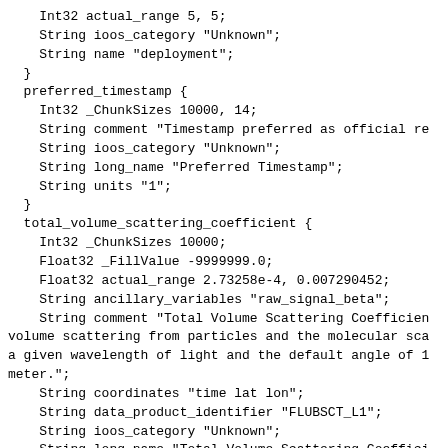Int32 actual_range 5, 5;
    String ioos_category "Unknown";
    String name "deployment";
  }
  preferred_timestamp {
    Int32 _ChunkSizes 10000, 14;
    String comment "Timestamp preferred as official re
    String ioos_category "Unknown";
    String long_name "Preferred Timestamp";
    String units "1";
  }
  total_volume_scattering_coefficient {
    Int32 _ChunkSizes 10000;
    Float32 _FillValue -9999999.0;
    Float32 actual_range 2.73258e-4, 0.007290452;
    String ancillary_variables "raw_signal_beta";
    String comment "Total Volume Scattering Coefficien
volume scattering from particles and the molecular sca
a given wavelength of light and the default angle of 1
meter.";
    String coordinates "time lat lon";
    String data_product_identifier "FLUBSCT_L1";
    String ioos_category "Unknown";
    String long_name "Total Volume Scattering Coeffici
    Int32 precision 6;
    String units "m";